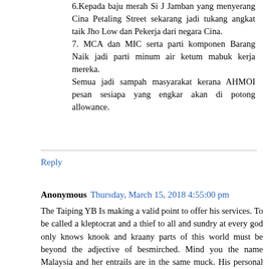6.Kepada baju merah Si J Jamban yang menyerang Cina Petaling Street sekarang jadi tukang angkat taik Jho Low dan Pekerja dari negara Cina.
7. MCA dan MIC serta parti komponen Barang Naik jadi parti minum air ketum mabuk kerja mereka.
Semua jadi sampah masyarakat kerana AHMOI pesan sesiapa yang engkar akan di potong allowance.
Reply
Anonymous Thursday, March 15, 2018 4:55:00 pm
The Taiping YB Is making a valid point to offer his services. To be called a kleptocrat and a thief to all and sundry at every god only knows knook and kraany parts of this world must be beyond the adjective of besmirched. Mind you the name Malaysia and her entrails are in the same muck. His personal advocates still finding the right time to do their